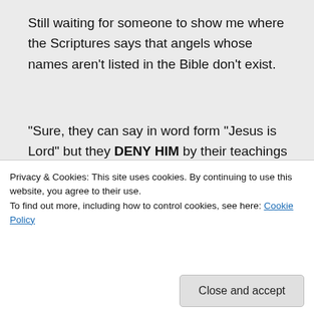Still waiting for someone to show me where the Scriptures says that angels whose names aren't listed in the Bible don't exist.
“Sure, they can say in word form “Jesus is Lord” but they DENY HIM by their teachings and their actions.”
No they definitely don’t, they preach Jesus, pray for people and lead them to salvation.
“BTW, MANIFESTATIONS are a clear…
Privacy & Cookies: This site uses cookies. By continuing to use this website, you agree to their use.
To find out more, including how to control cookies, see here: Cookie Policy
“God would NEVER cause someone to